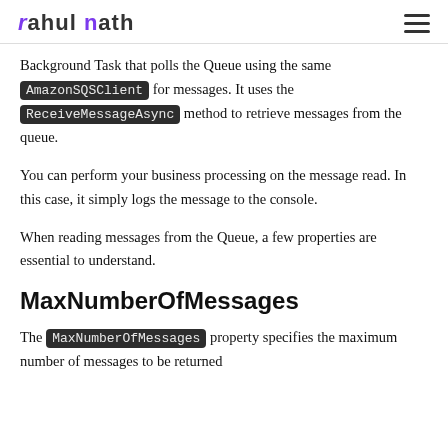rahul nath
Background Task that polls the Queue using the same AmazonSQSClient for messages. It uses the ReceiveMessageAsync method to retrieve messages from the queue.
You can perform your business processing on the message read. In this case, it simply logs the message to the console.
When reading messages from the Queue, a few properties are essential to understand.
MaxNumberOfMessages
The MaxNumberOfMessages property specifies the maximum number of messages to be returned